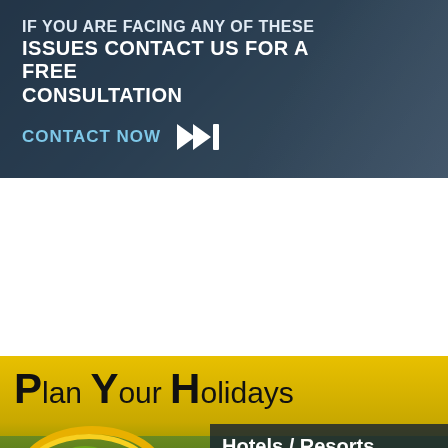[Figure (infographic): Dark blue-grey banner with bold white text: 'IF YOU ARE FACING ANY OF THESE ISSUES CONTACT US FOR A FREE CONSULTATION' and a cyan 'CONTACT NOW' button with double-arrow skip icon]
[Figure (infographic): Kerala travel agency advertisement. Top: yellow-green background with 'Plan Your Holidays' text. Left: Kathakali dancer figure. Right: dark overlay panel listing 'Hotels / Resorts, Houseboat ,Taxi, Domestic & International Tour Packages'. Bottom red strip: 'www.keralatravel'. Bottom-right: reCAPTCHA badge with 'Privacy - Terms'.]